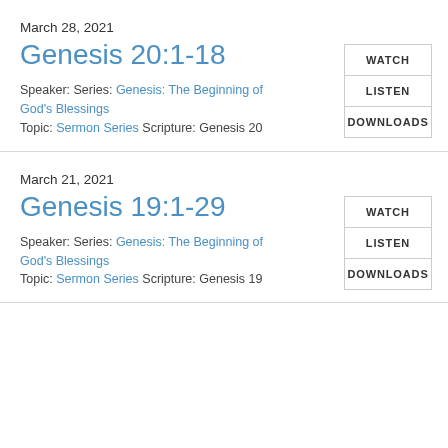March 28, 2021
Genesis 20:1-18
Speaker: Series: Genesis: The Beginning of God's Blessings
Topic: Sermon Series Scripture: Genesis 20
WATCH
LISTEN
DOWNLOADS
March 21, 2021
Genesis 19:1-29
Speaker: Series: Genesis: The Beginning of God's Blessings
Topic: Sermon Series Scripture: Genesis 19
WATCH
LISTEN
DOWNLOADS